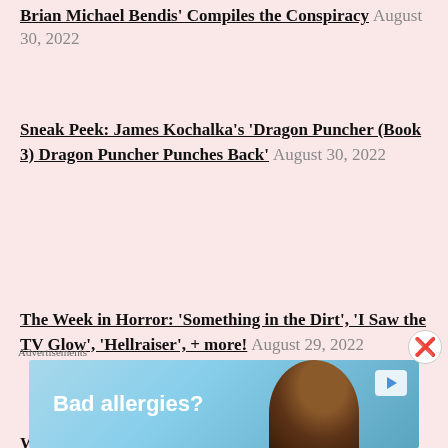Brian Michael Bendis' Compiles the Conspiracy August 30, 2022
Sneak Peek: James Kochalka's 'Dragon Puncher (Book 3) Dragon Puncher Punches Back' August 30, 2022
The Week in Horror: 'Something in the Dirt', 'I Saw the TV Glow', 'Hellraiser', + more! August 29, 2022
What's Going On: Elton John & Britney
[Figure (other): Advertisement banner with text 'Bad allergies?' on blue background with person with curly hair]